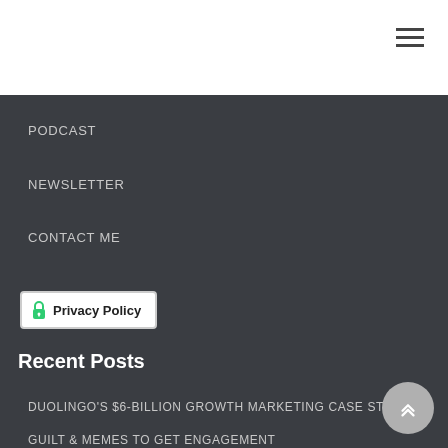PODCAST
NEWSLETTER
CONTACT ME
[Figure (other): Privacy Policy button with lock icon]
Recent Posts
DUOLINGO'S $6-BILLION GROWTH MARKETING CASE STUDY
GUILT & MEMES TO GET ENGAGEMENT